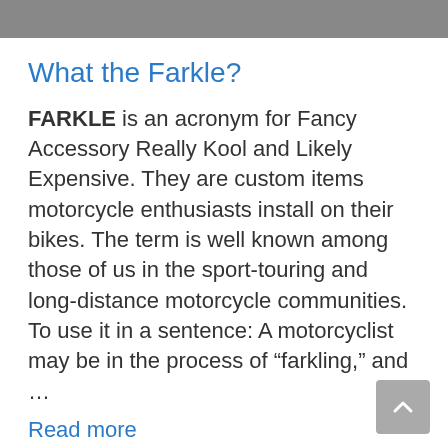[Figure (photo): Partial photograph visible at the top of the page, appearing to be a motorcycle or outdoor scene in grayscale.]
What the Farkle?
FARKLE is an acronym for Fancy Accessory Really Kool and Likely Expensive. They are custom items motorcycle enthusiasts install on their bikes. The term is well known among those of us in the sport-touring and long-distance motorcycle communities. To use it in a sentence: A motorcyclist may be in the process of “farkling,” and …
Read more